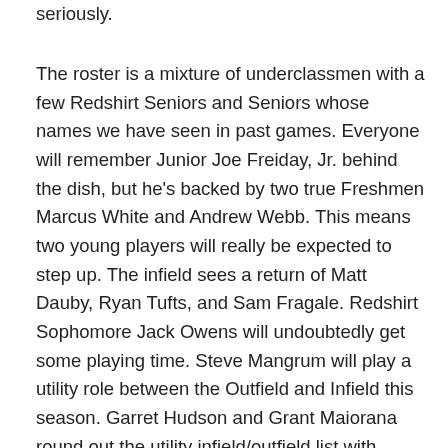seriously.
The roster is a mixture of underclassmen with a few Redshirt Seniors and Seniors whose names we have seen in past games. Everyone will remember Junior Joe Freiday, Jr. behind the dish, but he's backed by two true Freshmen Marcus White and Andrew Webb. This means two young players will really be expected to step up. The infield sees a return of Matt Dauby, Ryan Tufts, and Sam Fragale. Redshirt Sophomore Jack Owens will undoubtedly get some playing time. Steve Mangrum will play a utility role between the Outfield and Infield this season. Garret Hudson and Grant Maiorana round out the utility infield/outfield list with Maiorana occupying the only experienced backup catcher role.